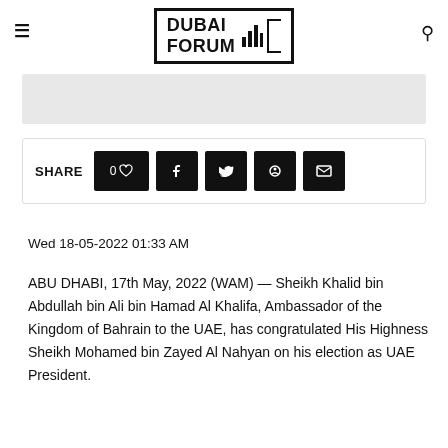DUBAI FORUM
[Figure (other): Gray banner/advertisement placeholder]
[Figure (other): Share bar with like count (0), Facebook, Twitter, Pinterest, and email buttons]
Wed 18-05-2022 01:33 AM
ABU DHABI, 17th May, 2022 (WAM) — Sheikh Khalid bin Abdullah bin Ali bin Hamad Al Khalifa, Ambassador of the Kingdom of Bahrain to the UAE, has congratulated His Highness Sheikh Mohamed bin Zayed Al Nahyan on his election as UAE President.